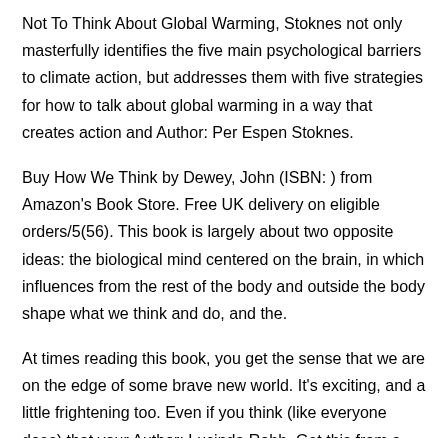Not To Think About Global Warming, Stoknes not only masterfully identifies the five main psychological barriers to climate action, but addresses them with five strategies for how to talk about global warming in a way that creates action and Author: Per Espen Stoknes.
Buy How We Think by Dewey, John (ISBN: ) from Amazon's Book Store. Free UK delivery on eligible orders/5(56). This book is largely about two opposite ideas: the biological mind centered on the brain, in which influences from the rest of the body and outside the body shape what we think and do, and the.
At times reading this book, you get the sense that we are on the edge of some brave new world. It's exciting, and a little frightening too. Even if you think (like everyone does) that your Author: Lucinda Robb. Get this from a library. How we think. [John Dewey] -- The dean of American philosophers shares his views on methods of training students to think well.
His considerations include inductive and deductive logic, interpreting facts, concrete and abstract. About How to Think “Absolutely splendid